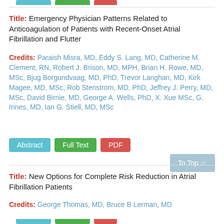Title: Emergency Physician Patterns Related to Anticoagulation of Patients with Recent-Onset Atrial Fibrillation and Flutter
Credits: Paraish Misra, MD, Eddy S. Lang, MD, Catherine M. Clement, RN, Robert J. Brison, MD, MPH, Brian H. Rowe, MD, MSc, Bjug Borgundvaag, MD, PhD, Trevor Langhan, MD, Kirk Magee, MD, MSc, Rob Stenstrom, MD, PhD, Jeffrey J. Perry, MD, MSc, David Birnie, MD, George A. Wells, PhD, X. Xue MSc, G. Innes, MD, Ian G. Stiell, MD, MSc
Abstract | Full Text | PDF
Title: New Options for Complete Risk Reduction in Atrial Fibrillation Patients
Credits: George Thomas, MD, Bruce B Lerman, MD